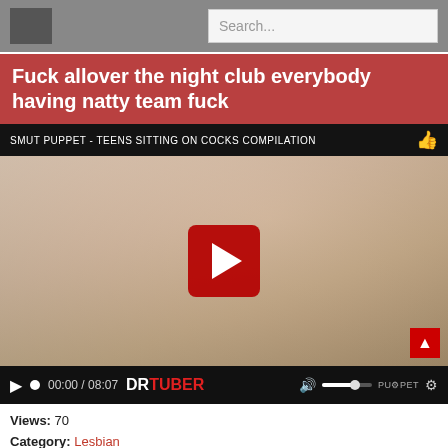Search...
Fuck allover the night club everybody having natty team fuck
[Figure (screenshot): Video player showing a thumbnail with a red play button overlay. Overlay title reads: SMUT PUPPET - TEENS SITTING ON COCKS COMPILATION. Timecode shows 00:00 / 08:07. Brand label: DRTUBER.]
Views: 70
Category: Lesbian
Tags: amateur blowjob cfnm group sex hardcore lesbian public reality
Date: 2020-06-10T12:02:17+00:00